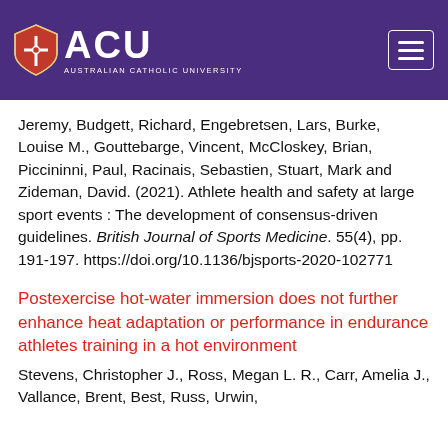[Figure (logo): Australian Catholic University (ACU) logo with shield emblem and ACU text on purple background header with hamburger menu icon]
Jeremy, Budgett, Richard, Engebretsen, Lars, Burke, Louise M., Gouttebarge, Vincent, McCloskey, Brian, Piccininni, Paul, Racinais, Sebastien, Stuart, Mark and Zideman, David. (2021). Athlete health and safety at large sport events : The development of consensus-driven guidelines. British Journal of Sports Medicine. 55(4), pp. 191-197. https://doi.org/10.1136/bjsports-2020-102771
Postexercise hot-water immersion does not further enhance heat adaptation or performance in endurance athletes training in a hot environment
Stevens, Christopher J., Ross, Megan L. R., Carr, Amelia J., Vallance, Brent, Best, Russ, Urwin,